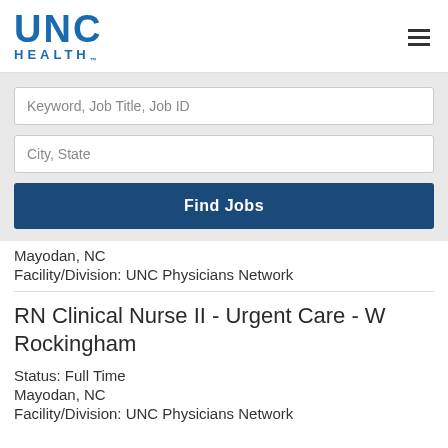[Figure (logo): UNC Health logo — blue text with UNC large and HEALTH smaller below]
Keyword, Job Title, Job ID
City, State
Find Jobs
Mayodan, NC
Facility/Division: UNC Physicians Network
RN Clinical Nurse II - Urgent Care - W Rockingham
Status: Full Time
Mayodan, NC
Facility/Division: UNC Physicians Network